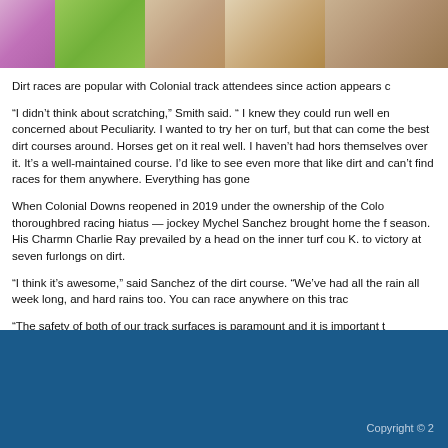[Figure (photo): Cropped top portion of a photograph showing people at what appears to be a horse racing event, with colorful clothing visible.]
Dirt races are popular with Colonial track attendees since action appears c
“I didn’t think about scratching,” Smith said. “ I knew they could run well en concerned about Peculiarity. I wanted to try her on turf, but that can come the best dirt courses around. Horses get on it real well. I haven’t had hors themselves over it. It’s a well-maintained course. I’d like to see even more that like dirt and can’t find races for them anywhere. Everything has gone
When Colonial Downs reopened in 2019 under the ownership of the Colo thoroughbred racing hiatus — jockey Mychel Sanchez brought home the f season. His Charmn Charlie Ray prevailed by a head on the inner turf cou K. to victory at seven furlongs on dirt.
“I think it’s awesome,” said Sanchez of the dirt course. “We’ve had all the rain all week long, and hard rains too. You can race anywhere on this trac
“The safety of both of our track surfaces is paramount and it is important t horsemen about the two tracks, especially under some trying weather con crew, led by Ken Brown, who have done a fantastic job last week.”
Copyright © 2